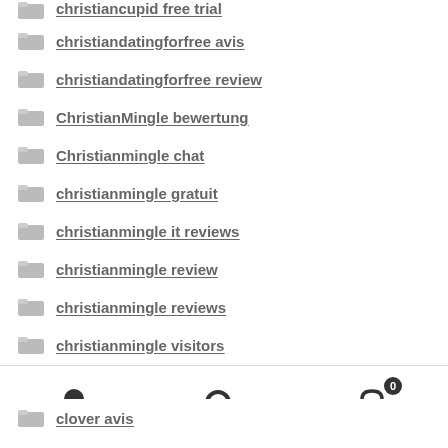christiancupid free trial
christiandatingforfree avis
christiandatingforfree review
ChristianMingle bewertung
Christianmingle chat
christianmingle gratuit
christianmingle it reviews
christianmingle review
christianmingle reviews
christianmingle visitors
Click For More
clover avis
User | Search | Cart (0)